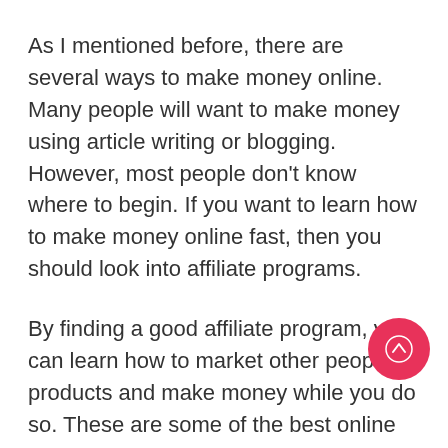As I mentioned before, there are several ways to make money online. Many people will want to make money using article writing or blogging. However, most people don't know where to begin. If you want to learn how to make money online fast, then you should look into affiliate programs.
By finding a good affiliate program, you can learn how to market other people's products and make money while you do so. These are some of the best online marketing courses to choose from.
The reason why you should take this course that it is free. You don't have to spend any money to find out how to make money online. You will never be asked to buy anything to take
[Figure (other): Pink circular floating action button with an upward arrow icon]